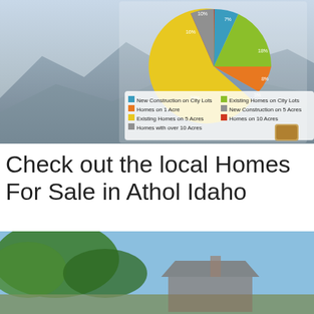[Figure (pie-chart): Home Types in Athol Idaho]
Check out the local Homes For Sale in Athol Idaho
[Figure (photo): Photo of a home in Athol Idaho surrounded by trees with blue sky, overlaid with a chat bubble saying 'We're Online! How may I help you today?' and a blue chat icon.]